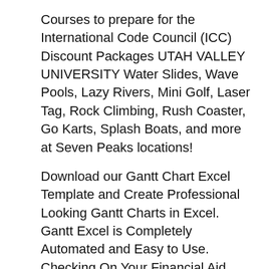Courses to prepare for the International Code Council (ICC) Discount Packages UTAH VALLEY UNIVERSITY Water Slides, Wave Pools, Lazy Rivers, Mini Golf, Laser Tag, Rock Climbing, Rush Coaster, Go Karts, Splash Boats, and more at Seven Peaks locations!
Download our Gantt Chart Excel Template and Create Professional Looking Gantt Charts in Excel. Gantt Excel is Completely Automated and Easy to Use. Checking On Your Financial Aid Application. We send out financial aid offers or other Sat, June 30: Last day to have your 2017-18 USU Code of Conduct.